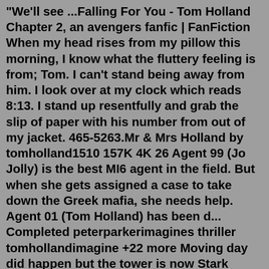"We'll see ...Falling For You - Tom Holland Chapter 2, an avengers fanfic | FanFiction When my head rises from my pillow this morning, I know what the fluttery feeling is from; Tom. I can't stand being away from him. I look over at my clock which reads 8:13. I stand up resentfully and grab the slip of paper with his number from out of my jacket. 465-5263.Mr & Mrs Holland by tomholland1510 157K 4K 26 Agent 99 (Jo Jolly) is the best MI6 agent in the field. But when she gets assigned a case to take down the Greek mafia, she needs help. Agent 01 (Tom Holland) has been d... Completed peterparkerimagines thriller tomhollandimagine +22 more Moving day did happen but the tower is now Stark Industries only. All of Tony's and Avengers things were moved upstate. This is my first story it will probably only be 2 maybe 3 chapters. I hope you enjoy, constructive criticism is welcome. I don't own Marvel as much as I wish but they own me and I do love Marvel and Tom Holland with all my heart. Tony and the Avengers sat in the